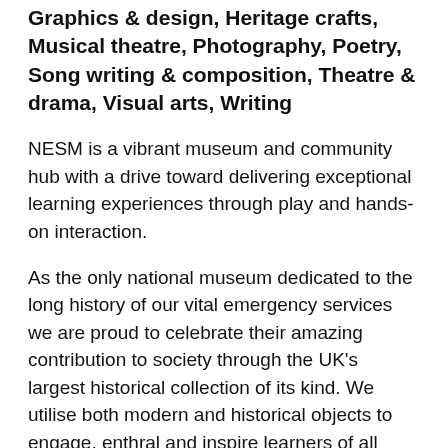Graphics & design, Heritage crafts, Musical theatre, Photography, Poetry, Song writing & composition, Theatre & drama, Visual arts, Writing
NESM is a vibrant museum and community hub with a drive toward delivering exceptional learning experiences through play and hands-on interaction.
As the only national museum dedicated to the long history of our vital emergency services we are proud to celebrate their amazing contribution to society through the UK's largest historical collection of its kind. We utilise both modern and historical objects to engage, enthral and inspire learners of all ages as we look at the services themselves and their wider impact on society.